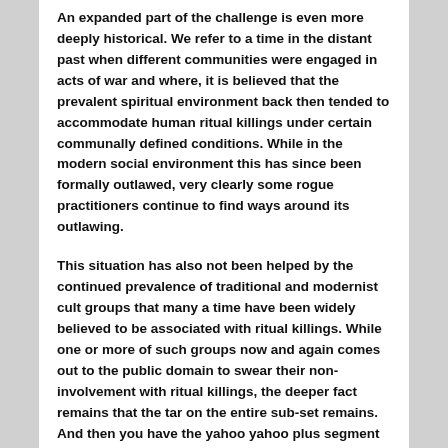An expanded part of the challenge is even more deeply historical. We refer to a time in the distant past when different communities were engaged in acts of war and where, it is believed that the prevalent spiritual environment back then tended to accommodate human ritual killings under certain communally defined conditions. While in the modern social environment this has since been formally outlawed, very clearly some rogue practitioners continue to find ways around its outlawing.
This situation has also not been helped by the continued prevalence of traditional and modernist cult groups that many a time have been widely believed to be associated with ritual killings. While one or more of such groups now and again comes out to the public domain to swear their non-involvement with ritual killings, the deeper fact remains that the tar on the entire sub-set remains. And then you have the yahoo yahoo plus segment of the irascible internet fraud ring.